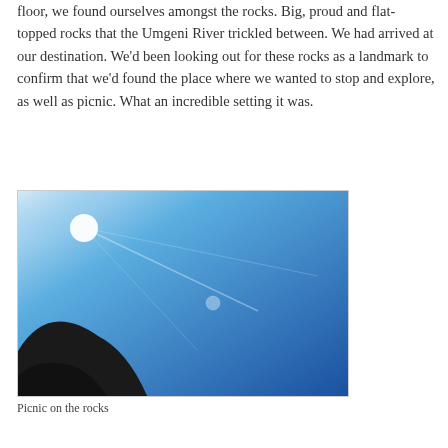floor, we found ourselves amongst the rocks. Big, proud and flat- topped rocks that the Umgeni River trickled between. We had arrived at our destination. We'd been looking out for these rocks as a landmark to confirm that we'd found the place where we wanted to stop and explore, as well as picnic. What an incredible setting it was.
[Figure (photo): Outdoor photograph looking up at a bright blue sky with the sun visible in the upper left causing a lens flare, and a dark silhouette of a hill or rock in the lower left corner.]
Picnic on the rocks